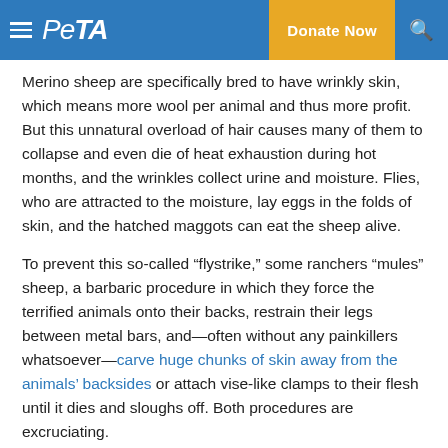PETA — Donate Now
Merino sheep are specifically bred to have wrinkly skin, which means more wool per animal and thus more profit. But this unnatural overload of hair causes many of them to collapse and even die of heat exhaustion during hot months, and the wrinkles collect urine and moisture. Flies, who are attracted to the moisture, lay eggs in the folds of skin, and the hatched maggots can eat the sheep alive.
To prevent this so-called “flystrike,” some ranchers “mules” sheep, a barbaric procedure in which they force the terrified animals onto their backs, restrain their legs between metal bars, and—often without any painkillers whatsoever—carve huge chunks of skin away from the animals’ backsides or attach vise-like clamps to their flesh until it dies and sloughs off. Both procedures are excruciating.